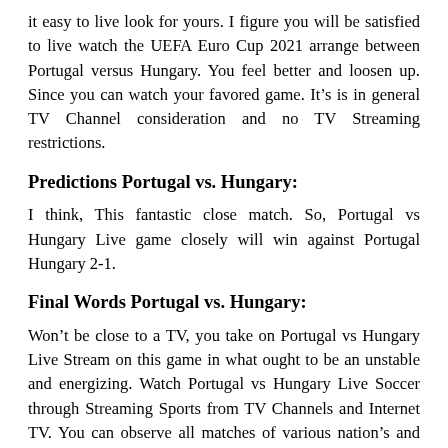it easy to live look for yours. I figure you will be satisfied to live watch the UEFA Euro Cup 2021 arrange between Portugal versus Hungary. You feel better and loosen up. Since you can watch your favored game. It's is in general TV Channel consideration and no TV Streaming restrictions.
Predictions Portugal vs. Hungary:
I think, This fantastic close match. So, Portugal vs Hungary Live game closely will win against Portugal Hungary 2-1.
Final Words Portugal vs. Hungary:
Won't be close to a TV, you take on Portugal vs Hungary Live Stream on this game in what ought to be an unstable and energizing. Watch Portugal vs Hungary Live Soccer through Streaming Sports from TV Channels and Internet TV. You can observe all matches of various nation's and alliances. The outcome remains practically capricious till the best in light of the fact that any group may win other group scoring an